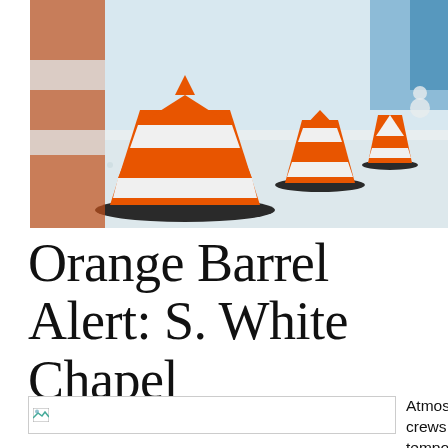[Figure (photo): Close-up photograph of orange and white traffic barrels/cones placed on a snow-covered road surface, with a row of cones extending into the background.]
Orange Barrel Alert: S. White Chapel
[Figure (photo): Small broken/missing image placeholder thumbnail]
Atmos Energy crews will temporarily closing